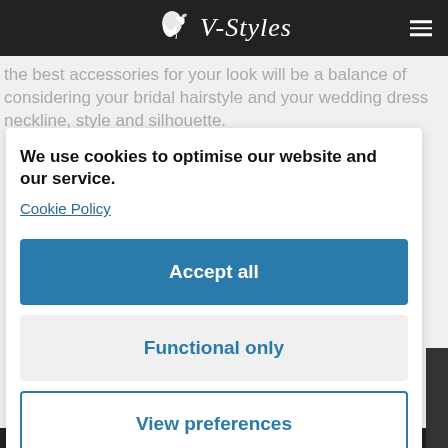V-Styles
the best accessories for your look will be a balance of considering your bridal hairstyle and your wedding dress neckline, style and silhouette.
We use cookies to optimise our website and our service.
Cookie Policy
Accept all
Functional only
View preferences